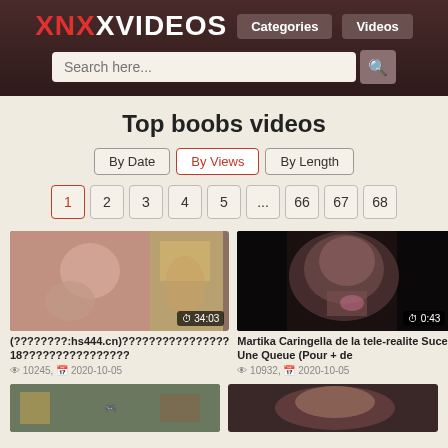XNXXXVIDEOS | Categories | Videos | Search here...
Top boobs videos
By Date | By Views | By Length
1 2 3 4 5 ... 66 67 68
[Figure (screenshot): Video thumbnail with duration 34:03]
(????????:hs444.cn)????????????????18????????????????
10245, 2020-10-05
[Figure (screenshot): Video thumbnail with duration 0:43]
Martika Caringella de la tele-realite Suce Une Queue (Pour + de
10932, 2020-10-05
[Figure (screenshot): Video thumbnail bottom left partial]
[Figure (screenshot): Video thumbnail bottom right partial]